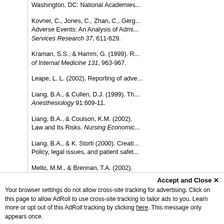Washington, DC: National Academies...
Kovner, C., Jones, C., Zhan, C., Gerg... Adverse Events: An Analysis of Admi... Services Research 37, 611-629.
Kraman, S.S., & Hamm, G. (1999). R... of Internal Medicine 131, 963-967.
Leape, L. L. (2002). Reporting of adve...
Liang, B.A., & Cullen, D.J. (1999). Th... Anesthesiology 91:609-11.
Liang, B.A., & Coulson, K.M. (2002). Law and Its Risks. Nursing Economic...
Liang, B.A., & K. Storti (2000). Creati... Policy, legal issues, and patient safet...
Mello, M.M., & Brennan, T.A. (2002). reform. Texas Law Review 80, 1595-...
Needleman, J., Buerhaus, P., Mattke,... Quality of Care in Hospitals. New Eng...
O'leary, D. (2002). Patient Safety: I...
Accept and Close ✕
Your browser settings do not allow cross-site tracking for advertising. Click on this page to allow AdRoll to use cross-site tracking to tailor ads to you. Learn more or opt out of this AdRoll tracking by clicking here. This message only appears once.